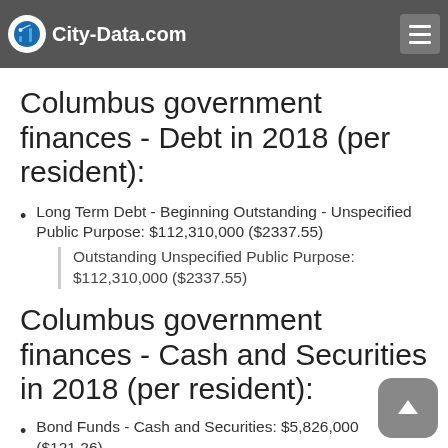City-Data.com
Occupation and Business License - Other: $9,000 ($0.19)
Columbus government finances - Debt in 2018 (per resident):
Long Term Debt - Beginning Outstanding - Unspecified Public Purpose: $112,310,000 ($2337.55)
Outstanding Unspecified Public Purpose: $112,310,000 ($2337.55)
Columbus government finances - Cash and Securities in 2018 (per resident):
Bond Funds - Cash and Securities: $5,826,000 ($121.26)